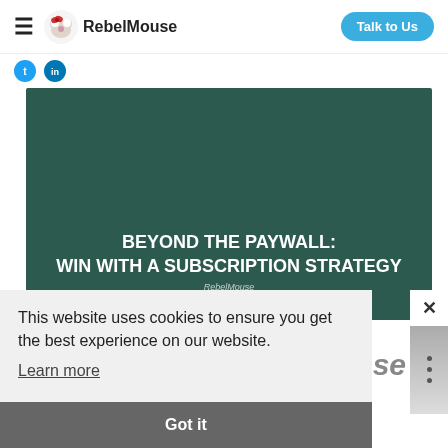RebelMouse — Talk to Us
[Figure (screenshot): RebelMouse website screenshot showing navigation bar with hamburger menu, RebelMouse logo, and 'Talk to Us' button in blue pill shape]
[Figure (illustration): Hero image with dark green background showing text 'BEYOND THE PAYWALL: WIN WITH A SUBSCRIPTION STRATEGY' and 'RebelMouse' watermark]
This website uses cookies to ensure you get the best experience on our website.
Learn more
Got it